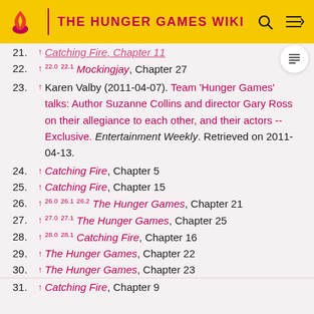THE HUNGER GAMES WIKI
21. ↑ Catching Fire, Chapter 11 [truncated/partial]
22. ↑ 22.0 22.1 Mockingjay, Chapter 27
23. ↑ Karen Valby (2011-04-07). Team 'Hunger Games' talks: Author Suzanne Collins and director Gary Ross on their allegiance to each other, and their actors -- Exclusive. Entertainment Weekly. Retrieved on 2011-04-13.
24. ↑ Catching Fire, Chapter 5
25. ↑ Catching Fire, Chapter 15
26. ↑ 26.0 26.1 26.2 The Hunger Games, Chapter 21
27. ↑ 27.0 27.1 The Hunger Games, Chapter 25
28. ↑ 28.0 28.1 Catching Fire, Chapter 16
29. ↑ The Hunger Games, Chapter 22
30. ↑ The Hunger Games, Chapter 23
31. ↑ Catching Fire, Chapter 9 [partial]